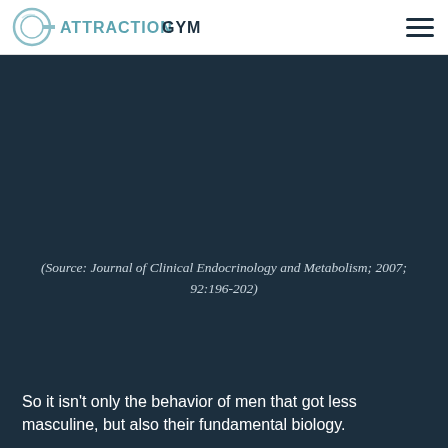ATTRACTIONGYM
(Source: Journal of Clinical Endocrinology and Metabolism; 2007; 92:196-202)
So it isn’t only the behavior of men that got less masculine, but also their fundamental biology.